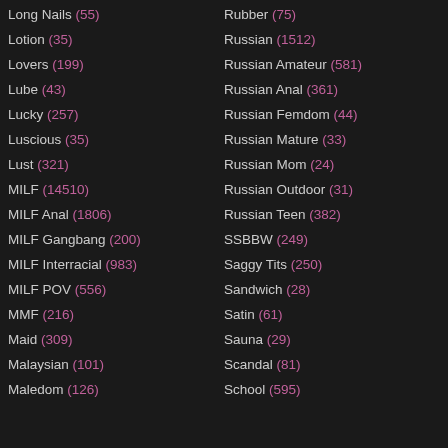Long Nails (55)
Lotion (35)
Lovers (199)
Lube (43)
Lucky (257)
Luscious (35)
Lust (321)
MILF (14510)
MILF Anal (1806)
MILF Gangbang (200)
MILF Interracial (983)
MILF POV (556)
MMF (216)
Maid (309)
Malaysian (101)
Maledom (126)
Rubber (75)
Russian (1512)
Russian Amateur (581)
Russian Anal (361)
Russian Femdom (44)
Russian Mature (33)
Russian Mom (24)
Russian Outdoor (31)
Russian Teen (382)
SSBBW (249)
Saggy Tits (250)
Sandwich (28)
Satin (61)
Sauna (29)
Scandal (81)
School (595)